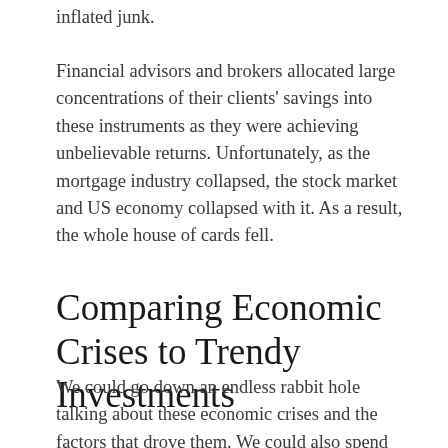inflated junk.
Financial advisors and brokers allocated large concentrations of their clients' savings into these instruments as they were achieving unbelievable returns. Unfortunately, as the mortgage industry collapsed, the stock market and US economy collapsed with it. As a result, the whole house of cards fell.
Comparing Economic Crises to Trendy Investments
We could go down an endless rabbit hole talking about these economic crises and the factors that drove them. We could also spend hours talking about the tremendous impact it had on Americans. But, of course, the whole story of these economic crises is far more complex and nuanced than the boiled-down versions I've recounted. Still, it's hard to ignore the similarities